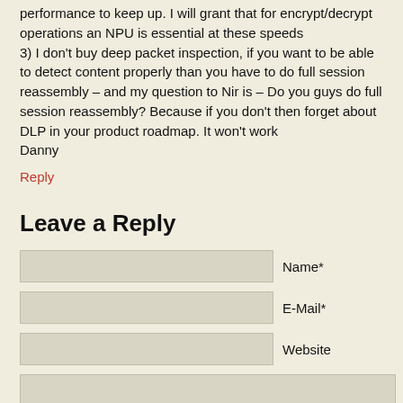performance to keep up. I will grant that for encrypt/decrypt operations an NPU is essential at these speeds
3) I don't buy deep packet inspection, if you want to be able to detect content properly than you have to do full session reassembly – and my question to Nir is – Do you guys do full session reassembly? Because if you don't then forget about DLP in your product roadmap. It won't work
Danny
Reply
Leave a Reply
Name*
E-Mail*
Website